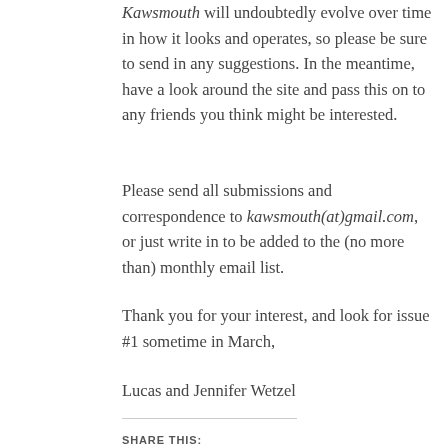Kawsmouth will undoubtedly evolve over time in how it looks and operates, so please be sure to send in any suggestions. In the meantime, have a look around the site and pass this on to any friends you think might be interested.
Please send all submissions and correspondence to kawsmouth(at)gmail.com, or just write in to be added to the (no more than) monthly email list.
Thank you for your interest, and look for issue #1 sometime in March,
Lucas and Jennifer Wetzel
SHARE THIS: